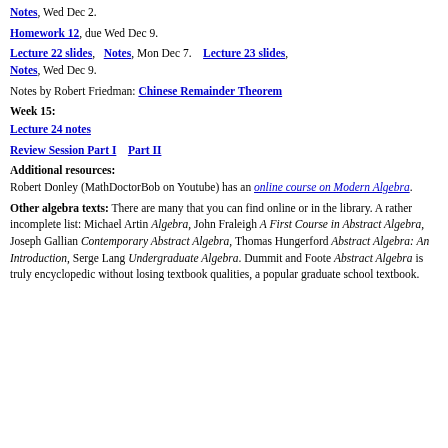Notes, Wed Dec 2.
Homework 12, due Wed Dec 9.
Lecture 22 slides, Notes, Mon Dec 7. Lecture 23 slides, Notes, Wed Dec 9.
Notes by Robert Friedman: Chinese Remainder Theorem
Week 15:
Lecture 24 notes
Review Session Part I  Part II
Additional resources: Robert Donley (MathDoctorBob on Youtube) has an online course on Modern Algebra.
Other algebra texts: There are many that you can find online or in the library. A rather incomplete list: Michael Artin Algebra, John Fraleigh A First Course in Abstract Algebra, Joseph Gallian Contemporary Abstract Algebra, Thomas Hungerford Abstract Algebra: An Introduction, Serge Lang Undergraduate Algebra. Dummit and Foote Abstract Algebra is truly encyclopedic without losing textbook qualities, a popular graduate school textbook.